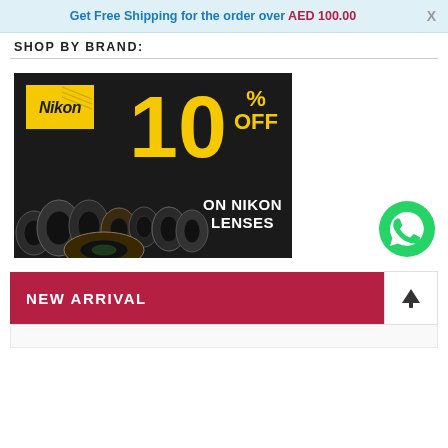Get Free Shipping for the order over AED 100.00
SHOP BY BRAND:
[Figure (illustration): Nikon advertisement banner showing '10% OFF ON NIKON LENSES' with Nikon logo and a pile of camera lenses on a dark background]
[Figure (logo): WhatsApp green phone icon/button]
NEW ARRIVAL